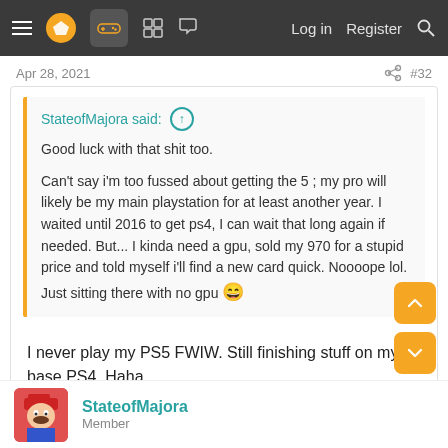≡ [logo] [controller] [grid] [chat]   Log in   Register   🔍
Apr 28, 2021   #32
StateofMajora said: ↑

Good luck with that shit too.

Can't say i'm too fussed about getting the 5 ; my pro will likely be my main playstation for at least another year. I waited until 2016 to get ps4, I can wait that long again if needed. But... I kinda need a gpu, sold my 970 for a stupid price and told myself i'll find a new card quick. Noooope lol. Just sitting there with no gpu 😄
I never play my PS5 FWIW. Still finishing stuff on my base PS4. Haha.
StateofMajora
Member